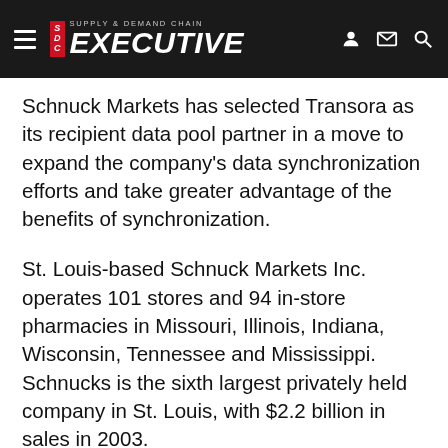Supply & Demand Chain Executive
Schnuck Markets has selected Transora as its recipient data pool partner in a move to expand the company's data synchronization efforts and take greater advantage of the benefits of synchronization.
St. Louis-based Schnuck Markets Inc. operates 101 stores and 94 in-store pharmacies in Missouri, Illinois, Indiana, Wisconsin, Tennessee and Mississippi. Schnucks is the sixth largest privately held company in St. Louis, with $2.2 billion in sales in 2003.
Under its new contract, Schnucks will seek to immediately